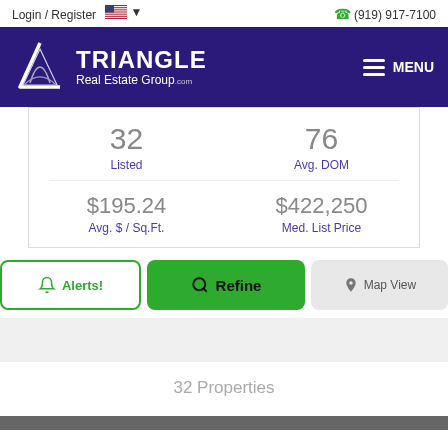Login / Register  🇺🇸 ▾    (919) 917-7100
[Figure (logo): Triangle Real Estate Group .com logo with triangular icon on dark purple background with MENU hamburger icon]
| 32 | 76 |
| Listed | Avg. DOM |
| $195.24 | $422,250 |
| Avg. $ / Sq.Ft. | Med. List Price |
Alerts!  Refine  Map View
32 Properties